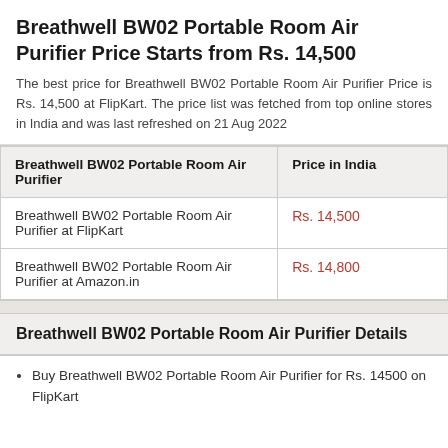Breathwell BW02 Portable Room Air Purifier Price Starts from Rs. 14,500
The best price for Breathwell BW02 Portable Room Air Purifier Price is Rs. 14,500 at FlipKart. The price list was fetched from top online stores in India and was last refreshed on 21 Aug 2022
| Breathwell BW02 Portable Room Air Purifier | Price in India |
| --- | --- |
| Breathwell BW02 Portable Room Air Purifier at FlipKart | Rs. 14,500 |
| Breathwell BW02 Portable Room Air Purifier at Amazon.in | Rs. 14,800 |
Breathwell BW02 Portable Room Air Purifier Details
Buy Breathwell BW02 Portable Room Air Purifier for Rs. 14500 on FlipKart